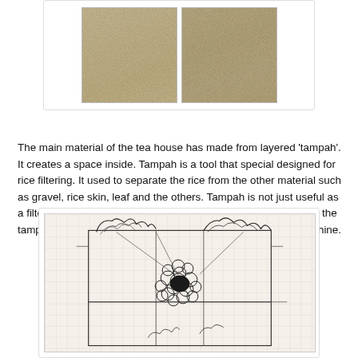[Figure (photo): Two close-up photographs side by side: left shows rice grains texture, right shows a woven tampah surface texture]
The main material of the tea house has made from layered 'tampah'. It creates a space inside. Tampah is a tool that special designed for rice filtering. It used to separate the rice from the other material such as gravel, rice skin, leaf and the others. Tampah is not just useful as a filtering tool, it also used to dry the rice. People dry the rice on the tampah and place it on the roof. It has done to get enough sunshine.
[Figure (illustration): A pencil sketch/architectural drawing on grid paper showing a building structure with organic forms, curved lines suggesting vegetation or natural materials on top, and circular clustered shapes in the middle suggesting the tampah material arrangement]